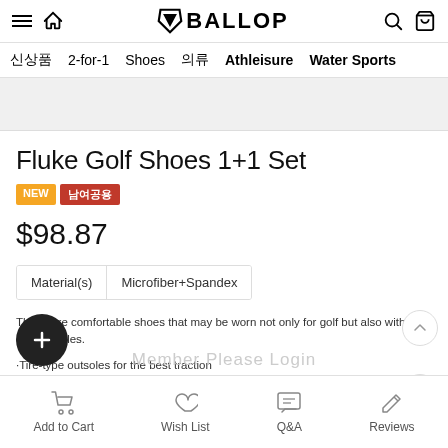BALLOP — navigation header with hamburger, home, logo, search, and cart icons
신상품  2-for-1  Shoes  의류  Athleisure  Water Sports
Fluke Golf Shoes 1+1 Set
NEW  남여공용
$98.87
| Material(s) | Microfiber+Spandex |
| --- | --- |
These are comfortable shoes that may be worn not only for golf but also with casual styles.
Tire-type outsoles for the best traction
EVA midsoles to reduce foot fatigue
Ortholite insoles
Lace adjustments
Logo detail
Add to Cart   Wish List   Q&A   Reviews